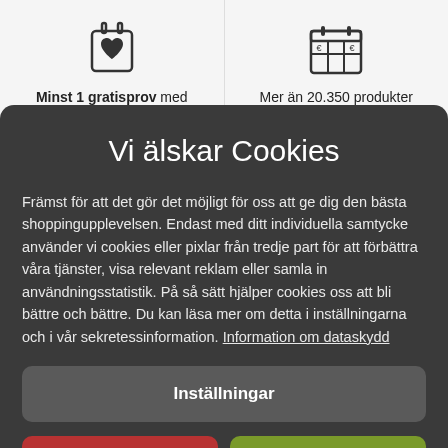[Figure (illustration): Icon of a gift/shopping bag with a heart, above text 'Minst 1 gratisprov med']
Minst 1 gratisprov med
[Figure (illustration): Icon of a product grid/catalog, above text 'Mer än 20.350 produkter']
Mer än 20.350 produkter
Vi älskar Cookies
Främst för att det gör det möjligt för oss att ge dig den bästa shoppingupplevelsen. Endast med ditt individuella samtycke använder vi cookies eller pixlar från tredje part för att förbättra våra tjänster, visa relevant reklam eller samla in användningsstatistik. På så sätt hjälper cookies oss att bli bättre och bättre. Du kan läsa mer om detta i inställningarna och i vår sekretessinformation. Information om dataskydd
Inställningar
Avvisa alla
Acceptera alla